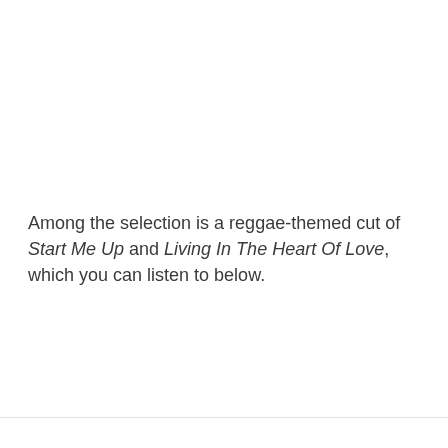Among the selection is a reggae-themed cut of Start Me Up and Living In The Heart Of Love, which you can listen to below.